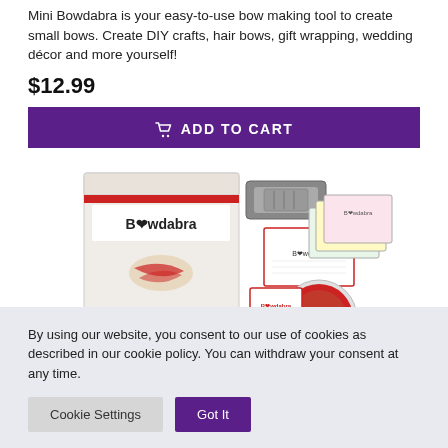Mini Bowdabra is your easy-to-use bow making tool to create small bows. Create DIY crafts, hair bows, gift wrapping, wedding décor and more yourself!
$12.99
ADD TO CART
[Figure (photo): Product photo showing Bowdabra bow maker kit box, tool, cards, and a DVD disc spread out together]
By using our website, you consent to our use of cookies as described in our cookie policy. You can withdraw your consent at any time.
Cookie Settings
Got It